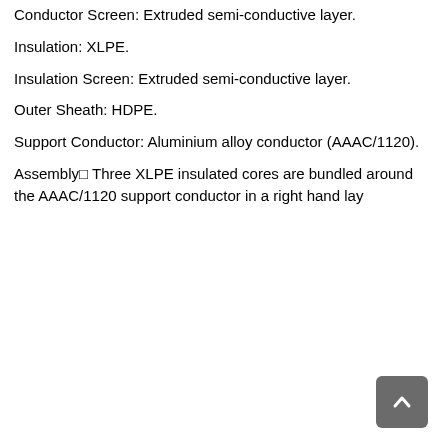Conductor Screen: Extruded semi-conductive layer.
Insulation: XLPE.
Insulation Screen: Extruded semi-conductive layer.
Outer Sheath: HDPE.
Support Conductor: Aluminium alloy conductor (AAAC/1120).
Assembly: Three XLPE insulated cores are bundled around the AAAC/1120 support conductor in a right hand lay